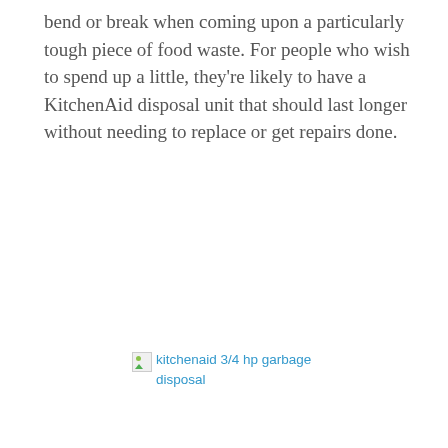bend or break when coming upon a particularly tough piece of food waste. For people who wish to spend up a little, they're likely to have a KitchenAid disposal unit that should last longer without needing to replace or get repairs done.
[Figure (photo): Broken image placeholder for 'kitchenaid 3/4 hp garbage disposal']